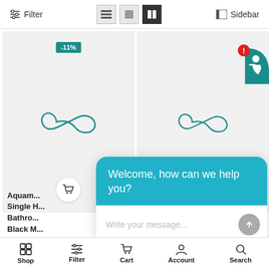[Figure (screenshot): E-commerce product listing page with toolbar showing Filter, view toggle buttons, and Sidebar options. Two product cards with infinity-loop brand logos on grey backgrounds. Left card has -11% discount badge and cart button. Notification icon with red alert badge top-right. Chat widget overlay with teal header 'Welcome, how can we help you?' and message input. Bottom navigation bar with Shop, Filter, Cart, Account, Search.]